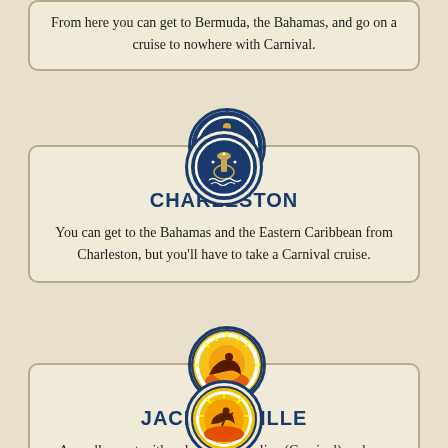From here you can get to Bermuda, the Bahamas, and go on a cruise to nowhere with Carnival.
[Figure (illustration): Circular seal/emblem for Charleston with dark blue background]
CHARLESTON
You can get to the Bahamas and the Eastern Caribbean from Charleston, but you'll have to take a Carnival cruise.
[Figure (illustration): Circular seal for Jacksonville showing a horseman silhouette on orange/yellow sunburst background]
JACKSONVILLE
A smaller port with only one cruise line (Carnival) and one destination (the Bahamas).
[Figure (illustration): Circular seal for Florida with life preserver ring border]